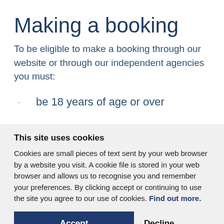Making a booking
To be eligible to make a booking through our website or through our independent agencies you must:
be 18 years of age or over
This site uses cookies
Cookies are small pieces of text sent by your web browser by a website you visit. A cookie file is stored in your web browser and allows us to recognise you and remember your preferences. By clicking accept or continuing to use the site you agree to our use of cookies. Find out more.
Accept
Decline
Manage settings